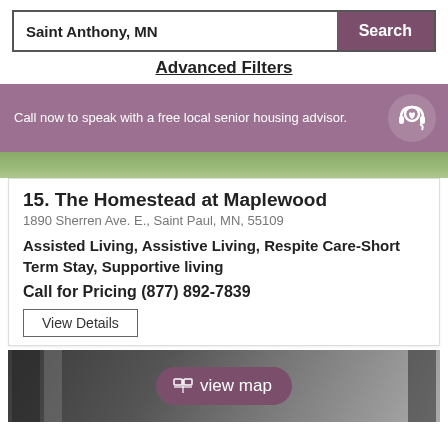Saint Anthony, MN
Search
Advanced Filters
Call now to speak with a free local senior housing advisor.
15. The Homestead at Maplewood
1890 Sherren Ave. E., Saint Paul, MN, 55109
Assisted Living, Assistive Living, Respite Care-Short Term Stay, Supportive living
Call for Pricing (877) 892-7839
View Details
[Figure (screenshot): Bottom photo of an interior space with a view map pill button overlay]
view map